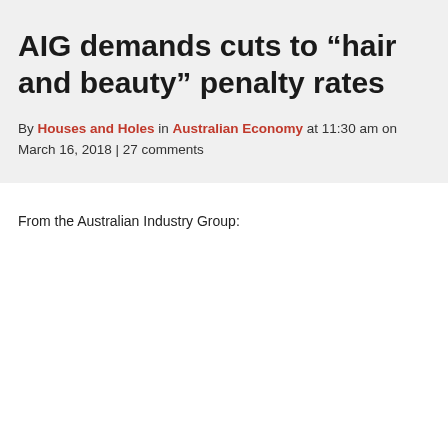AIG demands cuts to “hair and beauty” penalty rates
By Houses and Holes in Australian Economy at 11:30 am on March 16, 2018 | 27 comments
From the Australian Industry Group: